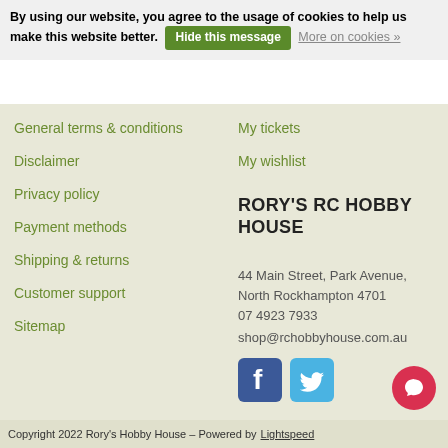By using our website, you agree to the usage of cookies to help us make this website better. Hide this message More on cookies »
General terms & conditions
Disclaimer
Privacy policy
Payment methods
Shipping & returns
Customer support
Sitemap
My tickets
My wishlist
RORY'S RC HOBBY HOUSE
44 Main Street, Park Avenue,
North Rockhampton 4701
07 4923 7933
shop@rchobbyhouse.com.au
[Figure (logo): Facebook and Twitter social media icons]
Copyright 2022 Rory's Hobby House – Powered by Lightspeed